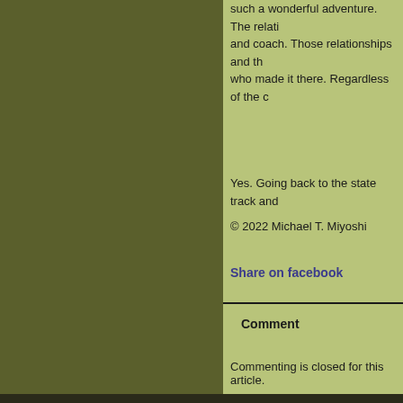such a wonderful adventure. The relati and coach. Those relationships and th who made it there. Regardless of the c
Yes. Going back to the state track and
© 2022 Michael T. Miyoshi
Share on facebook
Comment
Commenting is closed for this article.
Like Stephen King
Home | Po Web Serv Copyright ©